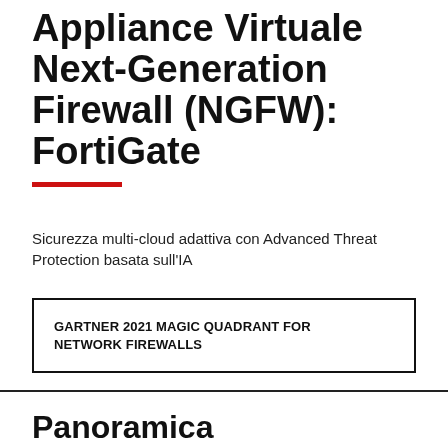Appliance Virtuale Next-Generation Firewall (NGFW): FortiGate
Sicurezza multi-cloud adattiva con Advanced Threat Protection basata sull'IA
GARTNER 2021 MAGIC QUADRANT FOR NETWORK FIREWALLS
Panoramica